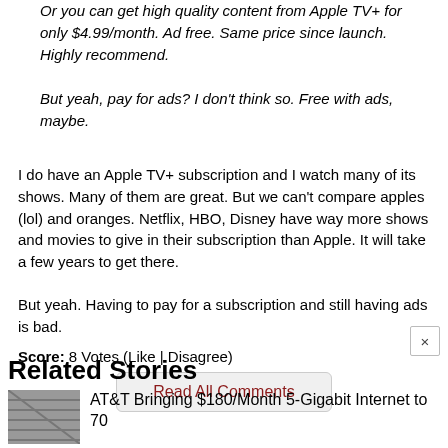Or you can get high quality content from Apple TV+ for only $4.99/month. Ad free. Same price since launch. Highly recommend.
But yeah, pay for ads? I don't think so. Free with ads, maybe.
I do have an Apple TV+ subscription and I watch many of its shows. Many of them are great. But we can't compare apples (lol) and oranges. Netflix, HBO, Disney have way more shows and movies to give in their subscription than Apple. It will take a few years to get there.
But yeah. Having to pay for a subscription and still having ads is bad.
Score: 8 Votes (Like | Disagree)
Read All Comments
Related Stories
AT&T Bringing $180/Month 5-Gigabit Internet to 70